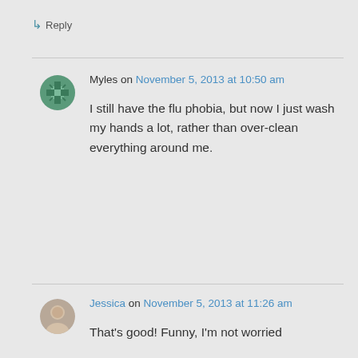↳ Reply
Myles on November 5, 2013 at 10:50 am
I still have the flu phobia, but now I just wash my hands a lot, rather than over-clean everything around me.
Jessica on November 5, 2013 at 11:26 am
That's good! Funny, I'm not worried